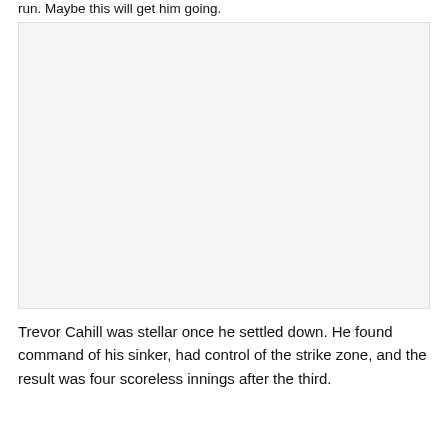run. Maybe this will get him going.
[Figure (photo): A blank/white image placeholder area]
Trevor Cahill was stellar once he settled down. He found command of his sinker, had control of the strike zone, and the result was four scoreless innings after the third.